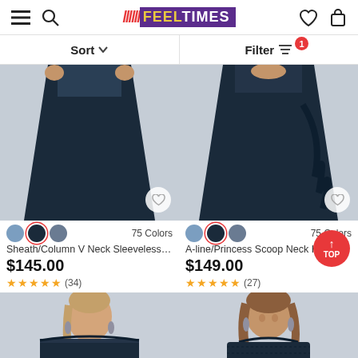FEELTIMES
Sort  Filter 1
[Figure (photo): Dark navy long dress product photo, lower half view]
75 Colors
Sheath/Column V Neck Sleeveless L...
$145.00
★★★★★ (34)
[Figure (photo): Dark navy long dress product photo with ruffle detail, lower half view]
75 Colors
A-line/Princess Scoop Neck H...
$149.00
★★★★★ (27)
[Figure (photo): Woman wearing dark navy off-shoulder lace dress, upper body]
[Figure (photo): Woman wearing dark navy sweetheart lace dress, upper body]